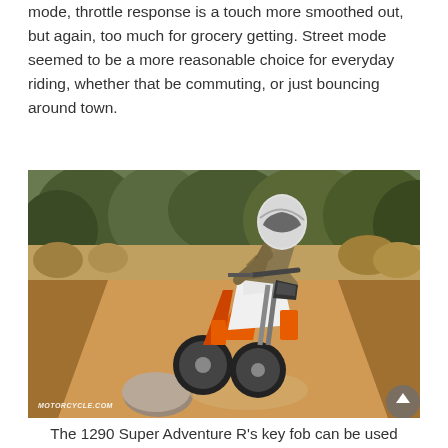mode, throttle response is a touch more smoothed out, but again, too much for grocery getting. Street mode seemed to be a more reasonable choice for everyday riding, whether that be commuting, or just bouncing around town.
[Figure (photo): A motorcycle rider on a KTM 1290 Super Adventure R riding on a dusty off-road dirt trail surrounded by dry brush and shrubs. The rider is wearing a white helmet and camouflage-style riding gear. The motorcycle is white and orange. Bottom left corner has a MOTORCYCLE.COM watermark.]
The 1290 Super Adventure R's key fob can be used